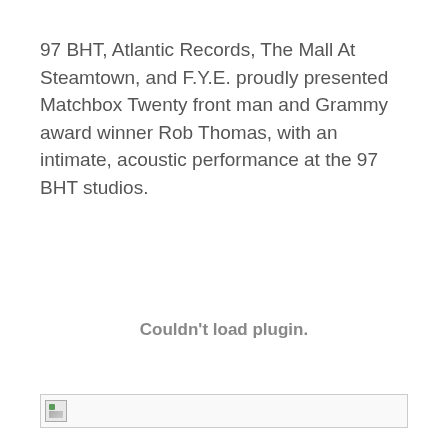97 BHT, Atlantic Records, The Mall At Steamtown, and F.Y.E. proudly presented Matchbox Twenty front man and Grammy award winner Rob Thomas, with an intimate, acoustic performance at the 97 BHT studios.
[Figure (other): Couldn't load plugin. — A plugin/media element that failed to load, showing placeholder text.]
[Figure (other): Broken image placeholder at bottom of page — a small image icon with broken link indicator inside a bordered rectangle.]